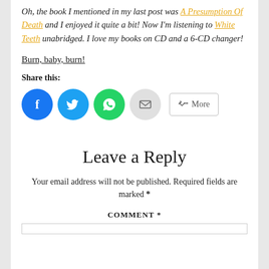Oh, the book I mentioned in my last post was A Presumption Of Death and I enjoyed it quite a bit! Now I'm listening to White Teeth unabridged. I love my books on CD and a 6-CD changer!
Burn, baby, burn!
Share this:
[Figure (infographic): Social share buttons: Facebook, Twitter, WhatsApp, Email (circle icons), and a More button]
Leave a Reply
Your email address will not be published. Required fields are marked *
COMMENT *